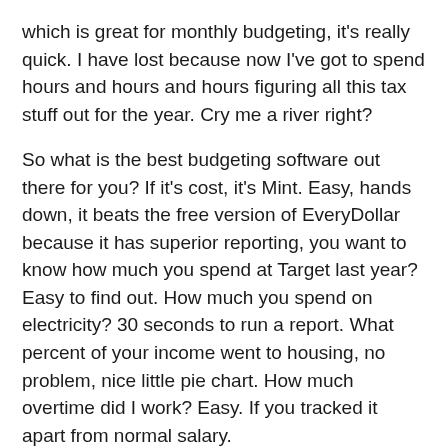which is great for monthly budgeting, it's really quick. I have lost because now I've got to spend hours and hours and hours figuring all this tax stuff out for the year. Cry me a river right?
So what is the best budgeting software out there for you? If it's cost, it's Mint. Easy, hands down, it beats the free version of EveryDollar because it has superior reporting, you want to know how much you spend at Target last year? Easy to find out. How much you spend on electricity? 30 seconds to run a report. What percent of your income went to housing, no problem, nice little pie chart. How much overtime did I work? Easy. If you tracked it apart from normal salary.
Mint's got all this nice little features and it's free. If you have a simple financial solution, single standard deduction, Mint or the EveryDollar basic is for you. EveryDollar plus, $99 a